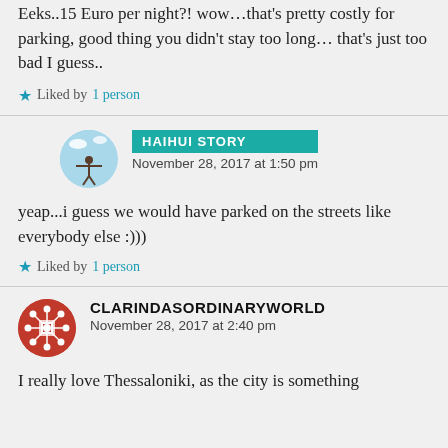Eeks..15 Euro per night?! wow...that's pretty costly for parking, good thing you didn't stay too long… that's just too bad I guess..
Liked by 1 person
HAIHUI STORY
November 28, 2017 at 1:50 pm
yeap...i guess we would have parked on the streets like everybody else :)))
Liked by 1 person
CLARINDASORDINARYWORLD
November 28, 2017 at 2:40 pm
I really love Thessaloniki, as the city is something